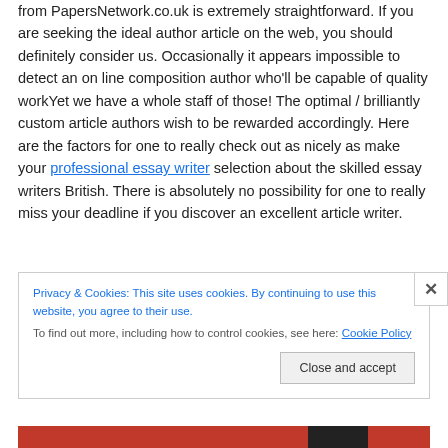from PapersNetwork.co.uk is extremely straightforward. If you are seeking the ideal author article on the web, you should definitely consider us. Occasionally it appears impossible to detect an on line composition author who'll be capable of quality workYet we have a whole staff of those! The optimal / brilliantly custom article authors wish to be rewarded accordingly. Here are the factors for one to really check out as nicely as make your professional essay writer selection about the skilled essay writers British. There is absolutely no possibility for one to really miss your deadline if you discover an excellent article writer.
Privacy & Cookies: This site uses cookies. By continuing to use this website, you agree to their use. To find out more, including how to control cookies, see here: Cookie Policy